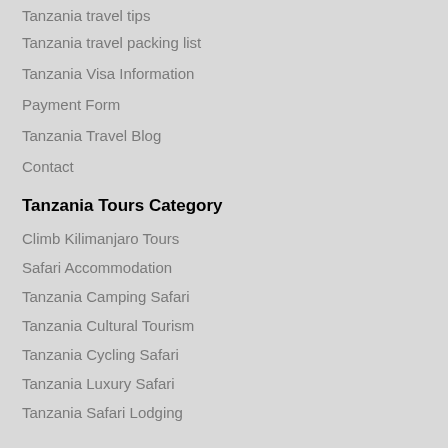Tanzania travel tips
Tanzania travel packing list
Tanzania Visa Information
Payment Form
Tanzania Travel Blog
Contact
Tanzania Tours Category
Climb Kilimanjaro Tours
Safari Accommodation
Tanzania Camping Safari
Tanzania Cultural Tourism
Tanzania Cycling Safari
Tanzania Luxury Safari
Tanzania Safari Lodging